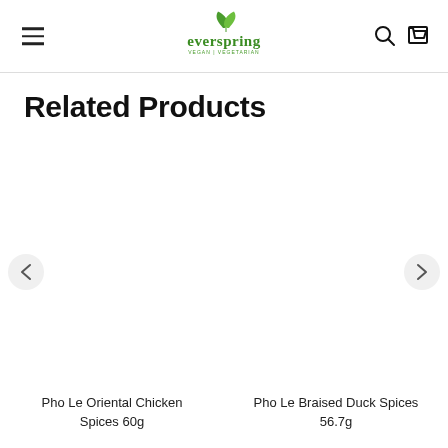everspring VEGAN VEGETARIAN
Related Products
[Figure (screenshot): Product card for Pho Le Oriental Chicken Spices 60g with empty image area]
Pho Le Oriental Chicken Spices 60g
[Figure (screenshot): Product card for Pho Le Braised Duck Spices 56.7g with empty image area]
Pho Le Braised Duck Spices 56.7g